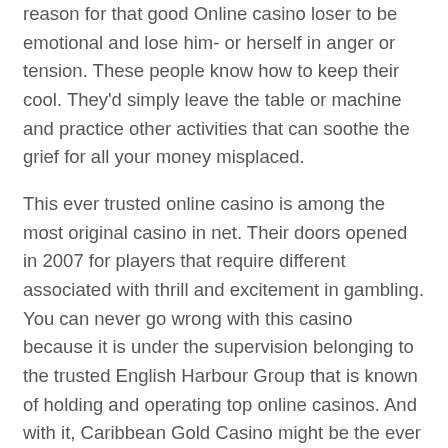reason for that good Online casino loser to be emotional and lose him- or herself in anger or tension. These people know how to keep their cool. They'd simply leave the table or machine and practice other activities that can soothe the grief for all your money misplaced.
This ever trusted online casino is among the most original casino in net. Their doors opened in 2007 for players that require different associated with thrill and excitement in gambling. You can never go wrong with this casino because it is under the supervision belonging to the trusted English Harbour Group that is known of holding and operating top online casinos. And with it, Caribbean Gold Casino might be the ever reliable Vegas Technology. Providing players ‘close to issue thing’ receive.
Las Vegas is famous for its casinos. You will find some excellent and world famous casino in Las Vegas which is bound to win your heart. Gambling in Sin city is a legitimate great experiences.